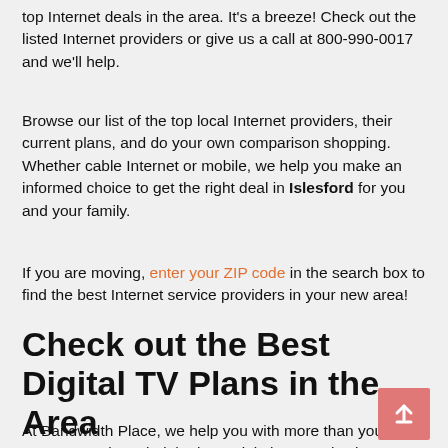top Internet deals in the area. It's a breeze! Check out the listed Internet providers or give us a call at 800-990-0017 and we'll help.
Browse our list of the top local Internet providers, their current plans, and do your own comparison shopping. Whether cable Internet or mobile, we help you make an informed choice to get the right deal in Islesford for you and your family.
If you are moving, enter your ZIP code in the search box to find the best Internet service providers in your new area!
Check out the Best Digital TV Plans in the Area
At Bandwidth Place, we help you with more than your Internet service. Find the best Digital TV service in